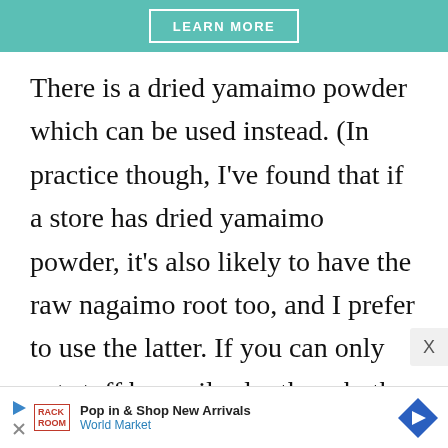[Figure (other): Teal/green banner with a 'LEARN MORE' button]
There is a dried yamaimo powder which can be used instead. (In practice though, I've found that if a store has dried yamaimo powder, it's also likely to have the raw nagaimo root too, and I prefer to use the latter. If you can only get stuff by mailorder though, the powder is more handy. Japan Centre carries it.)
[Figure (other): Advertisement banner: Pop in & Shop New Arrivals - World Market]